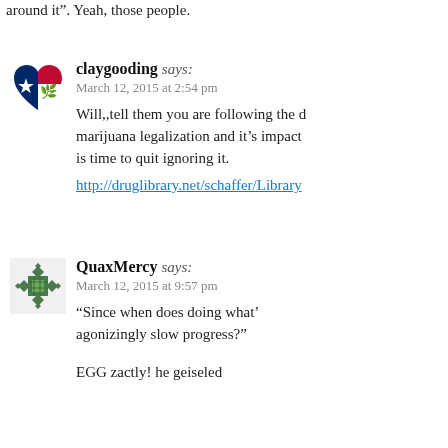around it". Yeah, those people.
claygooding says: March 12, 2015 at 2:54 pm
Will,,tell them you are following the d marijuana legalization and it’s impact is time to quit ignoring it.
http://druglibrary.net/schaffer/Library
QuaxMercy says: March 12, 2015 at 9:57 pm
“Since when does doing what’ agonizingly slow progress?”
EGG zactly! he geiseled